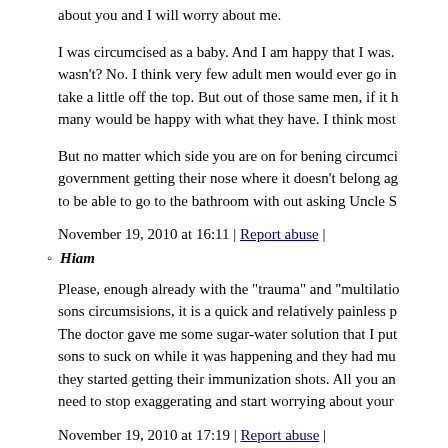about you and I will worry about me.
I was circumcised as a baby. And I am happy that I was. wasn't? No. I think very few adult men would ever go in take a little off the top. But out of those same men, if it h many would be happy with what they have. I think most
But no matter which side you are on for bening circumci government getting their nose where it doesn't belong ag to be able to go to the bathroom with out asking Uncle S
November 19, 2010 at 16:11 | Report abuse |
Hiam
Please, enough already with the "trauma" and "multilatio sons circumsisions, it is a quick and relatively painless p The doctor gave me some sugar-water solution that I put sons to suck on while it was happening and they had mu they started getting their immunization shots. All you an need to stop exaggerating and start worrying about your
November 19, 2010 at 17:19 | Report abuse |
George
You obviously don't give a damn about the choice of the person, not an object owned by parents. Whether the li